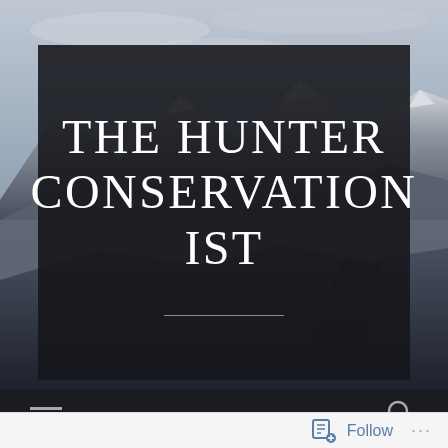[Figure (photo): Mountain landscape background with overcast sky, snow-dusted peaks, and dark forested hillsides]
THE HUNTER CONSERVATIONIST
[Figure (other): Bottom navigation bar with hamburger menu icon on left and search (magnifying glass) icon on right, on dark background]
[Figure (other): Follow bar at bottom with follow icon and 'Follow' text and '...' menu, on light grey background]